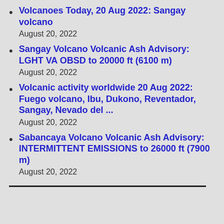Volcanoes Today, 20 Aug 2022: Sangay volcano
August 20, 2022
Sangay Volcano Volcanic Ash Advisory: LGHT VA OBSD to 20000 ft (6100 m)
August 20, 2022
Volcanic activity worldwide 20 Aug 2022: Fuego volcano, Ibu, Dukono, Reventador, Sangay, Nevado del ...
August 20, 2022
Sabancaya Volcano Volcanic Ash Advisory: INTERMITTENT EMISSIONS to 26000 ft (7900 m)
August 20, 2022